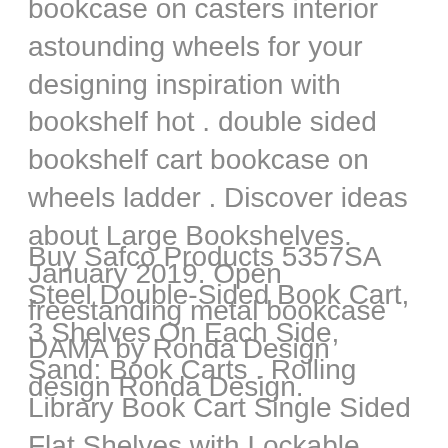bookcase on casters interior astounding wheels for your designing inspiration with bookshelf hot . double sided bookshelf cart bookcase on wheels ladder . Discover ideas about Large Bookshelves. January 2019. Open freestanding metal bookcase DAMA by Ronda Design design Ronda Design.
Buy Safco Products 5357SA Steel Double-Sided Book Cart, 3 Shelves On Each Side, Sand: Book Carts . Rolling Library Book Cart Single Sided Flat Shelves with Lockable Wheels,200lbs Capacity (Black . It's nice and sturdy. Read more. Buy Lorell Double-Sided Book Cart: Book Carts – Amazon.com ✓ FREE DELIVERY . Rolling